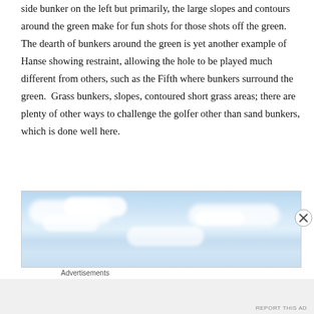side bunker on the left but primarily, the large slopes and contours around the green make for fun shots for those shots off the green.  The dearth of bunkers around the green is yet another example of Hanse showing restraint, allowing the hole to be played much different from others, such as the Fifth where bunkers surround the green.  Grass bunkers, slopes, contoured short grass areas; there are plenty of other ways to challenge the golfer other than sand bunkers, which is done well here.
[Figure (photo): A photograph showing a blue sky with white clouds, partially visible, appearing to be an advertisement image.]
Advertisements